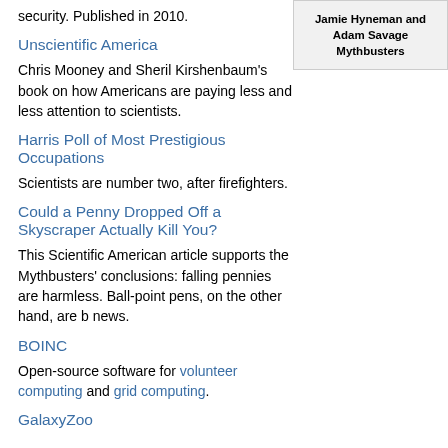security.  Published in 2010.
[Figure (other): Sidebar box with text: Jamie Hyneman and Adam Savage / Mythbusters]
Unscientific America
Chris Mooney and Sheril Kirshenbaum's book on how Americans are paying less and less attention to scientists.
Harris Poll of Most Prestigious Occupations
Scientists are number two, after firefighters.
Could a Penny Dropped Off a Skyscraper Actually Kill You?
This Scientific American article supports the Mythbusters' conclusions: falling pennies are harmless.  Ball-point pens, on the other hand, are bad news.
BOINC
Open-source software for volunteer computing and grid computing.
GalaxyZoo